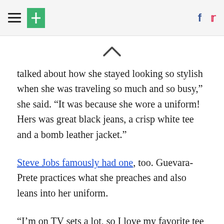[Hamburger menu] [HuffPost logo] [Facebook icon] [Twitter icon]
[Figure (other): Chevron/caret up arrow symbol]
talked about how she stayed looking so stylish when she was traveling so much and so busy,” she said. “It was because she wore a uniform! Hers was great black jeans, a crisp white tee and a bomb leather jacket.”
Steve Jobs famously had one, too. Guevara-Prete practices what she preaches and also leans into her uniform.
“I’m on TV sets a lot, so I love my favorite tee from Universal Standard, some Good American jeans and